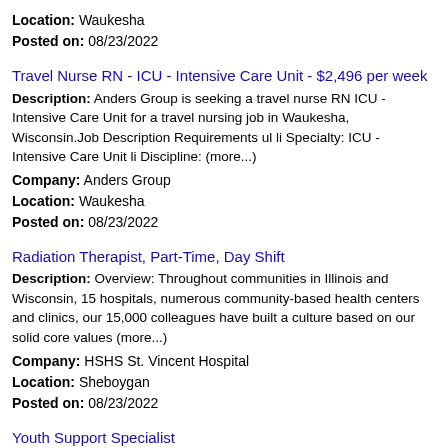Location: Waukesha
Posted on: 08/23/2022
Travel Nurse RN - ICU - Intensive Care Unit - $2,496 per week
Description: Anders Group is seeking a travel nurse RN ICU - Intensive Care Unit for a travel nursing job in Waukesha, Wisconsin.Job Description Requirements ul li Specialty: ICU - Intensive Care Unit li Discipline: (more...)
Company: Anders Group
Location: Waukesha
Posted on: 08/23/2022
Radiation Therapist, Part-Time, Day Shift
Description: Overview: Throughout communities in Illinois and Wisconsin, 15 hospitals, numerous community-based health centers and clinics, our 15,000 colleagues have built a culture based on our solid core values (more...)
Company: HSHS St. Vincent Hospital
Location: Sheboygan
Posted on: 08/23/2022
Youth Support Specialist
Description: Professional Services Group, Inc. br br Description: br PSG/CIR is a multi-service community-based social services